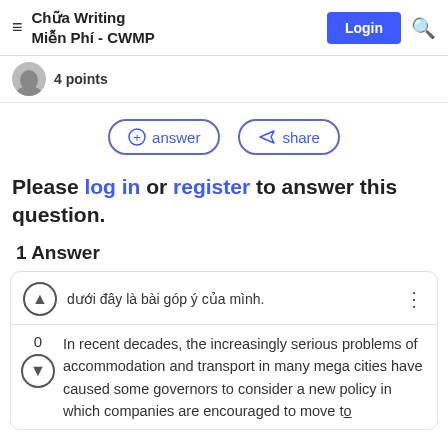Chữa Writing Miễn Phí - CWMP
4 points
answer  share
Please log in or register to answer this question.
1 Answer
dưới đây là bài góp ý của mình.
In recent decades, the increasingly serious problems of accommodation and transport in many mega cities have caused some governors to consider a new policy in which companies are encouraged to move to